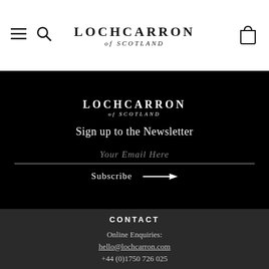LOCHCARRON of SCOTLAND — navigation header with menu, search, and bag icons
[Figure (logo): Lochcarron of Scotland logo in black section with white text: LOCHCARRON of SCOTLAND]
Sign up to the Newsletter
Your Email Here
Subscribe →
CONTACT
Online Enquiries:
hello@lochcarron.com
+44 (0)1750 726 025